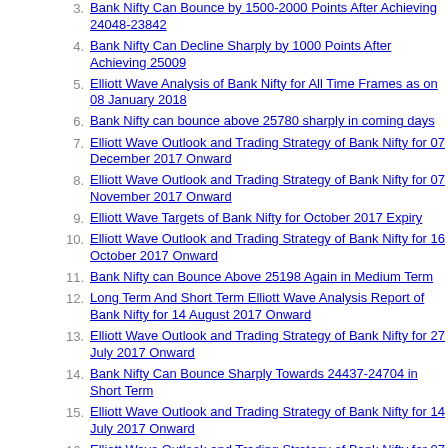3. Bank Nifty Can Bounce by 1500-2000 Points After Achieving 24048-23842
4. Bank Nifty Can Decline Sharply by 1000 Points After Achieving 25009
5. Elliott Wave Analysis of Bank Nifty for All Time Frames as on 08 January 2018
6. Bank Nifty can bounce above 25780 sharply in coming days
7. Elliott Wave Outlook and Trading Strategy of Bank Nifty for 07 December 2017 Onward
8. Elliott Wave Outlook and Trading Strategy of Bank Nifty for 07 November 2017 Onward
9. Elliott Wave Targets of Bank Nifty for October 2017 Expiry
10. Elliott Wave Outlook and Trading Strategy of Bank Nifty for 16 October 2017 Onward
11. Bank Nifty can Bounce Above 25198 Again in Medium Term
12. Long Term And Short Term Elliott Wave Analysis Report of Bank Nifty for 14 August 2017 Onward
13. Elliott Wave Outlook and Trading Strategy of Bank Nifty for 27 July 2017 Onward
14. Bank Nifty Can Bounce Sharply Towards 24437-24704 in Short Term
15. Elliott Wave Outlook and Trading Strategy of Bank Nifty for 14 July 2017 Onward
16. Elliott Wave Outlook and Trading Strategy of Bank Nifty for 07 July 2017 Onward
17. Elliott Wave Analysis Report of Bank Nifty for 02 June 2017...